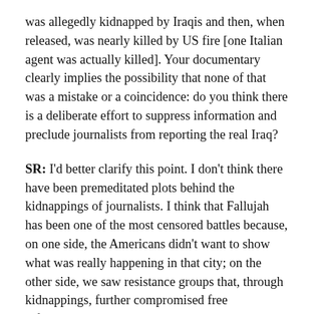was allegedly kidnapped by Iraqis and then, when released, was nearly killed by US fire [one Italian agent was actually killed]. Your documentary clearly implies the possibility that none of that was a mistake or a coincidence: do you think there is a deliberate effort to suppress information and preclude journalists from reporting the real Iraq?
SR: I'd better clarify this point. I don't think there have been premeditated plots behind the kidnappings of journalists. I think that Fallujah has been one of the most censored battles because, on one side, the Americans didn't want to show what was really happening in that city; on the other side, we saw resistance groups that, through kidnappings, further compromised free information.
MW: What are the implications of this? How do you see bourgeois democracy reorienting itself on the question of